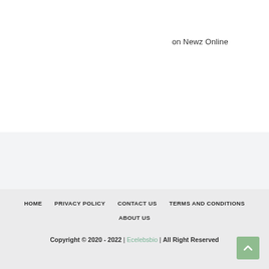on Newz Online
HOME  PRIVACY POLICY  CONTACT US  TERMS AND CONDITIONS  ABOUT US
Copyright © 2020 - 2022 | Ecelebsbio | All Right Reserved